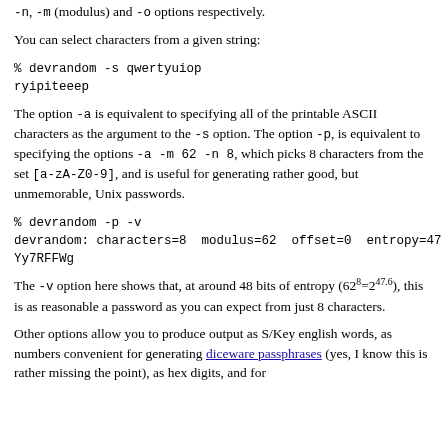-n, -m (modulus) and -o options respectively.
You can select characters from a given string:
% devrandom -s qwertyuiop
ryipiteeep
The option -a is equivalent to specifying all of the printable ASCII characters as the argument to the -s option. The option -p, is equivalent to specifying the options -a -m 62 -n 8, which picks 8 characters from the set [a-zA-Z0-9], and is useful for generating rather good, but unmemorable, Unix passwords.
% devrandom -p -v
devrandom: characters=8  modulus=62  offset=0  entropy=47
Yy7RFFWg
The -v option here shows that, at around 48 bits of entropy (62^8=2^47.6), this is as reasonable a password as you can expect from just 8 characters.
Other options allow you to produce output as S/Key english words, as numbers convenient for generating diceware passphrases (yes, I know this is rather missing the point), as hex digits, and for...